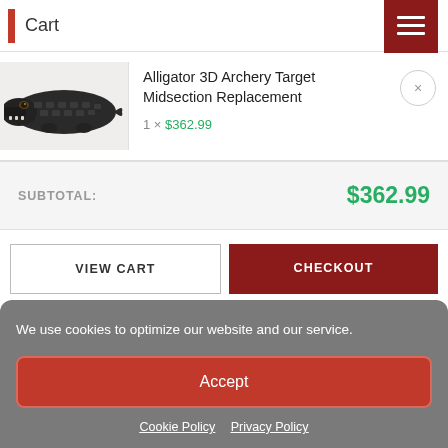Cart
[Figure (photo): Photo of an alligator 3D archery target midsection replacement, showing the mid-section of an alligator with textured skin.]
Alligator 3D Archery Target Midsection Replacement
1 × $362.99
| SUBTOTAL: | $362.99 |
| --- | --- |
VIEW CART
CHECKOUT
We use cookies to optimize our website and our service.
Accept
Cookie Policy  Privacy Policy